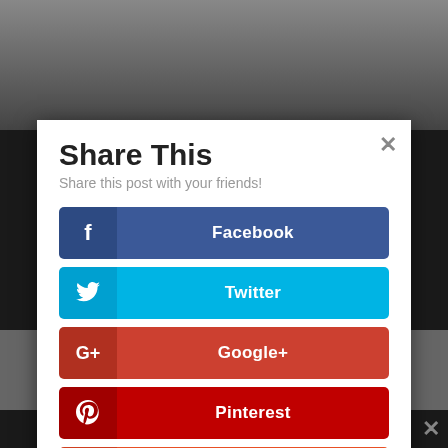[Figure (screenshot): Background showing a YouTube video thumbnail with people and a red YouTube play button icon, and dark background areas on sides and bottom.]
Share This
Share this post with your friends!
Facebook
Twitter
Google+
Pinterest
reddit
LinkedIn